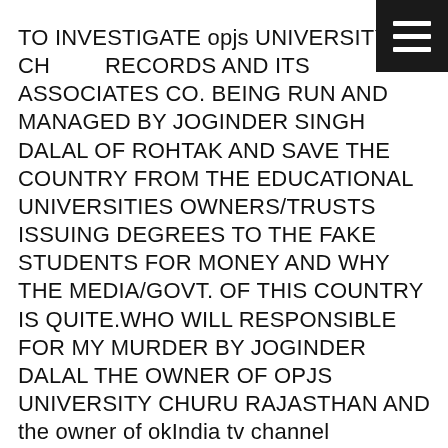TO INVESTIGATE opjs UNIVERSITY CHURU RECORDS AND ITS ASSOCIATES CO. BEING RUN AND MANAGED BY JOGINDER SINGH DALAL OF ROHTAK AND SAVE THE COUNTRY FROM THE EDUCATIONAL UNIVERSITIES OWNERS/TRUSTS ISSUING DEGREES TO THE FAKE STUDENTS FOR MONEY AND WHY THE MEDIA/GOVT. OF THIS COUNTRY IS QUITE.WHO WILL RESPONSIBLE FOR MY MURDER BY JOGINDER DALAL THE OWNER OF OPJS UNIVERSITY CHURU RAJASTHAN AND the owner of okIndia tv channel FUCTIONING ALL THE ACTIVITIES FROM ROHTAK HARYANA HIS PHONE NUMBER IS 7206660000. Hon,ble Sir, Some of the universities such as OPJS university churu Rajasthan run and managed by Joginder dalal of Rohtak P. No.